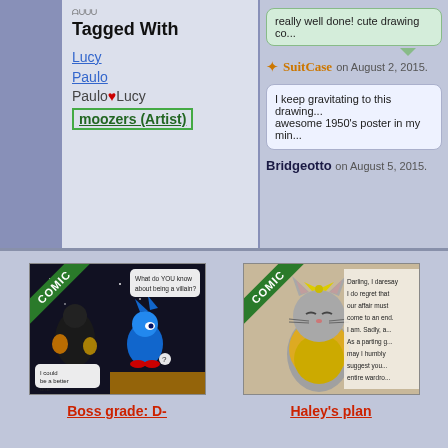Tagged With
Lucy
Paulo
Paulo ♥ Lucy
moozers (Artist)
really well done! cute drawing co...
SuitCase on August 2, 2015.
I keep gravitating to this drawing... awesome 1950's poster in my min...
Bridgeotto on August 5, 2015.
[Figure (illustration): Comic thumbnail showing Sonic the Hedgehog characters in a dark scene with speech bubbles, labeled COMIC]
Boss grade: D-
[Figure (illustration): Comic thumbnail showing an animated cat character with yellow scarf and text, labeled COMIC]
Haley's plan